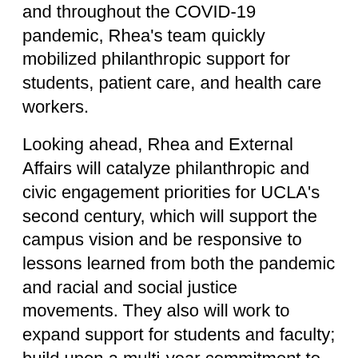and throughout the COVID-19 pandemic, Rhea's team quickly mobilized philanthropic support for students, patient care, and health care workers.
Looking ahead, Rhea and External Affairs will catalyze philanthropic and civic engagement priorities for UCLA's second century, which will support the campus vision and be responsive to lessons learned from both the pandemic and racial and social justice movements. They also will work to expand support for students and faculty; build upon a multi-year commitment to equity, diversity, inclusion, and belonging, including in staff practices and policies; and utilize new tools and technologies to inspire even more alumni to engage with one other — and in service to the campus.
Chancellor Block and I look forward to continuing to collaborate with Rhea to advance UCLA's mission. Please join us in congratulating Rhea on her many accomplishments in this role to date and expressing our